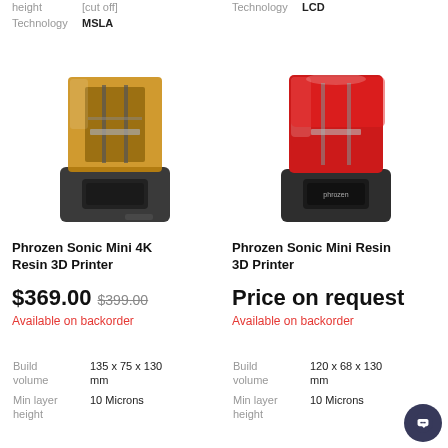height   [cut off]
Technology   MSLA
Technology   LCD
[Figure (photo): Phrozen Sonic Mini 4K Resin 3D Printer with amber/orange transparent cover and dark grey base]
[Figure (photo): Phrozen Sonic Mini Resin 3D Printer with red transparent cover and dark grey base]
Phrozen Sonic Mini 4K Resin 3D Printer
$369.00   $399.00
Available on backorder
Phrozen Sonic Mini Resin 3D Printer
Price on request
Available on backorder
|  |  |
| --- | --- |
| Build volume | 135 x 75 x 130 mm |
| Min layer height | 10 Microns |
|  |  |
| --- | --- |
| Build volume | 120 x 68 x 130 mm |
| Min layer height | 10 Microns |